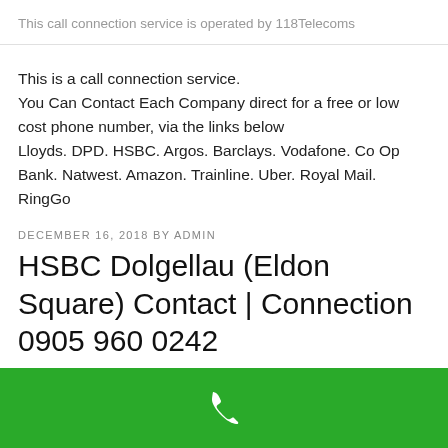This call connection service is operated by 118Telecoms
This is a call connection service.
You Can Contact Each Company direct for a free or low cost phone number, via the links below
Lloyds. DPD. HSBC. Argos. Barclays. Vodafone. Co Op Bank. Natwest. Amazon. Trainline. Uber. Royal Mail. RingGo
DECEMBER 16, 2018 BY ADMIN
HSBC Dolgellau (Eldon Square) Contact | Connection 0905 960 0242
[Figure (other): Green bar at bottom with white phone handset icon]